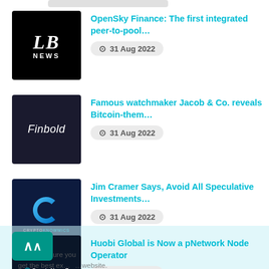[Figure (screenshot): News article list showing cryptocurrency and finance news items with thumbnails, titles in teal, and dates]
OpenSky Finance: The first integrated peer-to-pool... 31 Aug 2022
Famous watchmaker Jacob & Co. reveals Bitcoin-them... 31 Aug 2022
Jim Cramer Says, Avoid All Speculative Investments... 31 Aug 2022
Huobi Global is Now a pNetwork Node Operator 31 Aug 2022
Pimride (PIM) Is Now Available for Trading on LBan... 31 Aug 2022